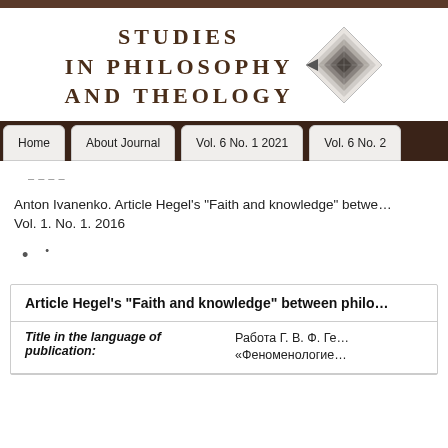STUDIES IN PHILOSOPHY AND THEOLOGY
[Figure (logo): Diamond-shaped logo with geometric pattern]
Home | About Journal | Vol. 6 No. 1 2021 | Vol. 6 No. 2
Anton Ivanenko. Article Hegel’s “Faith and knowledge” betwe... Vol. 1. No. 1. 2016
• •
| Field | Value |
| --- | --- |
| Article Hegel’s “Faith and knowledge” between philo… |  |
| Title in the language of publication: | Работа Г. В. Ф. Ге… «Феноменологие… |